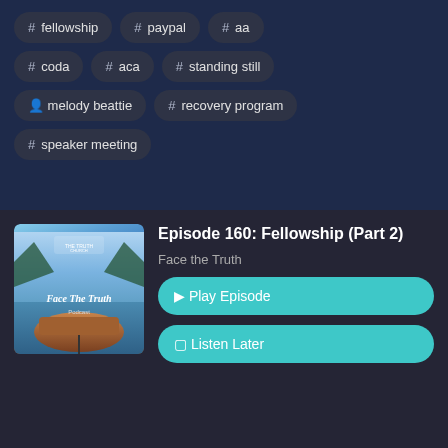# fellowship
# paypal
# aa
# coda
# aca
# standing still
person melody beattie
# recovery program
# speaker meeting
Episode 160: Fellowship (Part 2)
Face the Truth
Play Episode
Listen Later
Aug 25, 2022    33:36